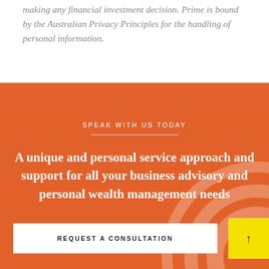making any financial investment decision. Prime is bound by the Australian Privacy Principles for the handling of personal information.
SPEAK WITH US TODAY
A unique and personal service approach and support for all your business advisory and personal wealth management needs
REQUEST A CONSULTATION